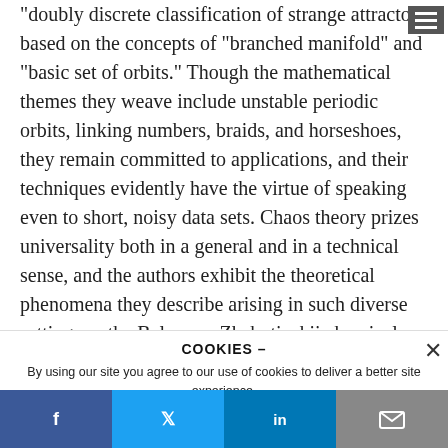"doubly discrete classification of strange attractors based on the concepts of "branched manifold" and "basic set of orbits." Though the mathematical themes they weave include unstable periodic orbits, linking numbers, braids, and horseshoes, they remain committed to applications, and their techniques evidently have the virtue of speaking even to short, noisy data sets. Chaos theory prizes universality both in a general and in a technical sense, and the authors exhibit the theoretical phenomena they describe arising in such diverse settings as the Belousov-Zhabotinskii chemical reaction, carbon dioxide lasers with modulated losses, realistic
COOKIES – By using our site you agree to our use of cookies to deliver a better site experience.
[Figure (infographic): Social sharing bar with Facebook, Twitter, LinkedIn, and email icons]